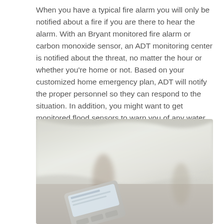When you have a typical fire alarm you will only be notified about a fire if you are there to hear the alarm. With an Bryant monitored fire alarm or carbon monoxide sensor, an ADT monitoring center is notified about the threat, no matter the hour or whether you're home or not. Based on your customized home emergency plan, ADT will notify the proper personnel so they can respond to the situation. In addition, you might want to get monitored flood sensors to warn you of any water damage.
[Figure (photo): Blurred photo of children playing in a living room with white draped fabric, a security control panel device visible in the foreground bottom-left.]